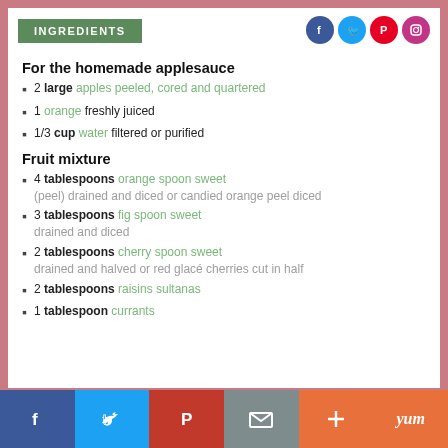INGREDIENTS
For the homemade applesauce
2 large apples peeled, cored and quartered
1 orange freshly juiced
1/3 cup water filtered or purified
Fruit mixture
4 tablespoons orange spoon sweet (peel) drained and diced or candied orange peel diced
3 tablespoons fig spoon sweet drained and diced
2 tablespoons cherry spoon sweet drained and halved or red glacé cherries cut in half
2 tablespoons raisins sultanas
1 tablespoon currants